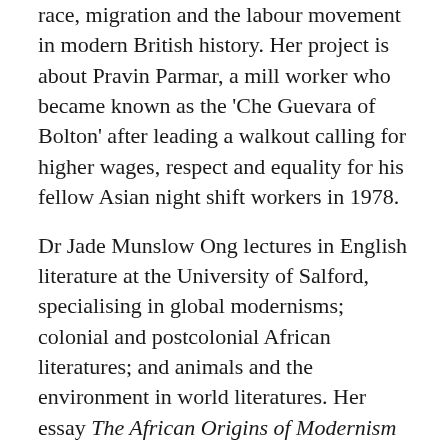race, migration and the labour movement in modern British history. Her project is about Pravin Parmar, a mill worker who became known as the 'Che Guevara of Bolton' after leading a walkout calling for higher wages, respect and equality for his fellow Asian night shift workers in 1978.
Dr Jade Munslow Ong lectures in English literature at the University of Salford, specialising in global modernisms; colonial and postcolonial African literatures; and animals and the environment in world literatures. Her essay The African Origins of Modernism explores the roles played by South African writers Olive Schreiner, HIE Dhlomo, Roy Campbell and William Plomer in the development of literary modernism.
“We are delighted to join again with the BBC to support the New Generation Thinkers scheme - one of the mechanisms that AHRC has always used...